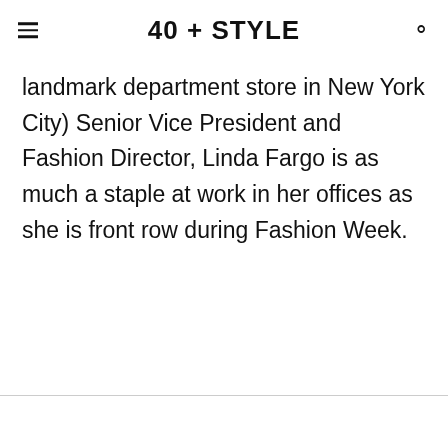40 + STYLE
landmark department store in New York City) Senior Vice President and Fashion Director, Linda Fargo is as much a staple at work in her offices as she is front row during Fashion Week.